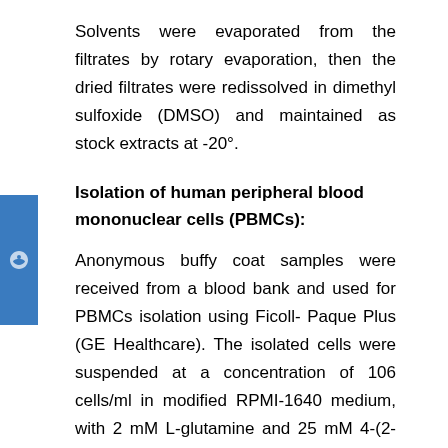Solvents were evaporated from the filtrates by rotary evaporation, then the dried filtrates were redissolved in dimethyl sulfoxide (DMSO) and maintained as stock extracts at -20°.
Isolation of human peripheral blood mononuclear cells (PBMCs):
Anonymous buffy coat samples were received from a blood bank and used for PBMCs isolation using Ficoll- Paque Plus (GE Healthcare). The isolated cells were suspended at a concentration of 106 cells/ml in modified RPMI-1640 medium, with 2 mM L-glutamine and 25 mM 4-(2-hydroxyethyl)-1-piperazineethanesulfonic acid (HEPES).